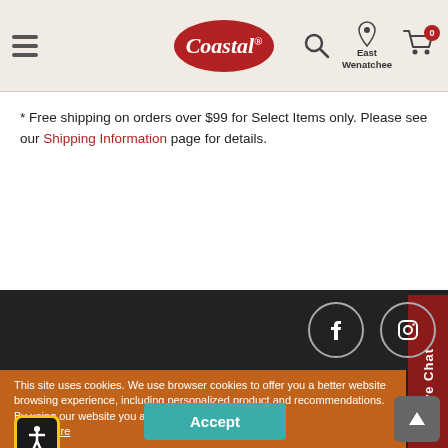Coastal — East Wenatchee store header with menu, logo, search, location, cart
* Free shipping on orders over $99 for Select Items only. Please see our Shipping Information page for details.
[Figure (infographic): Social media icons row: Facebook, Instagram, YouTube, Pinterest, Twitter — white icons in dark circles on dark background]
Shop Coastal
This site uses cookies. We use browser cookies to offer you a better website browsing experience, including personalized product and content recommendations. By using our website you agree to our Privacy Policy. Learn More